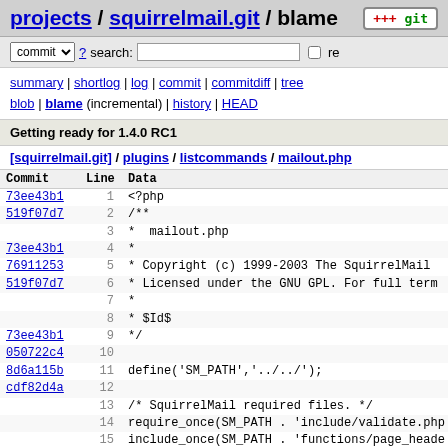projects / squirrelmail.git / blame
commit ▾ ? search: □ re
summary | shortlog | log | commit | commitdiff | tree blob | blame (incremental) | history | HEAD
Getting ready for 1.4.0 RC1
[squirrelmail.git] / plugins / listcommands / mailout.php
| Commit | Line | Data |
| --- | --- | --- |
| 73ee43b1 | 1 | <?php |
| 519f07d7 | 2 | /** |
|  | 3 |  * mailout.php |
| 73ee43b1 | 4 |  * |
| 76911253 | 5 |  * Copyright (c) 1999-2003 The SquirrelMail |
| 519f07d7 | 6 |  * Licensed under the GNU GPL. For full term |
|  | 7 |  * |
|  | 8 |  * $Id$ |
| 73ee43b1 | 9 |  */ |
| 050722c4 | 10 |  |
| 8d6a115b | 11 | define('SM_PATH','../../'); |
| cdf82d4a | 12 |  |
|  | 13 | /* SquirrelMail required files. */ |
|  | 14 | require_once(SM_PATH . 'include/validate.php |
|  | 15 | include_once(SM_PATH . 'functions/page_heade |
| aa7fb30c | 16 | include_once(SM_PATH . 'include/load_prefs.p |
| cdf82d4a | 17 | include_once(SM_PATH . 'functions/html.php') |
| 72ee43b1 | 18 |  |